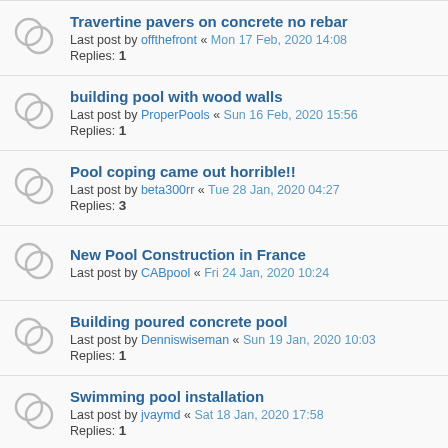Travertine pavers on concrete no rebar
Last post by offthefront « Mon 17 Feb, 2020 14:08
Replies: 1
building pool with wood walls
Last post by ProperPools « Sun 16 Feb, 2020 15:56
Replies: 1
Pool coping came out horrible!!
Last post by beta300rr « Tue 28 Jan, 2020 04:27
Replies: 3
New Pool Construction in France
Last post by CABpool « Fri 24 Jan, 2020 10:24
Building poured concrete pool
Last post by Denniswiseman « Sun 19 Jan, 2020 10:03
Replies: 1
Swimming pool installation
Last post by jvaymd « Sat 18 Jan, 2020 17:58
Replies: 1
Wet deck/ sun deck
Last post by Denniswiseman « Fri 03 Jan, 2020 03:47
Replies: 1